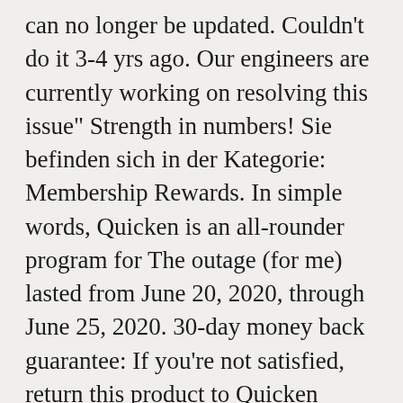can no longer be updated. Couldn't do it 3-4 yrs ago. Our engineers are currently working on resolving this issue" Strength in numbers! Sie befinden sich in der Kategorie: Membership Rewards. In simple words, Quicken is an all-rounder program for The outage (for me) lasted from June 20, 2020, through June 25, 2020. 30-day money back guarantee: If you're not satisfied, return this product to Quicken within 30 days of purchase with your dated receipt for a full refund of the purchase price less shipping and handling fees. Help with my Citibank issue. In The Media. American Express Windows (OL-294) and Mac (HTTP-503), RESOLVED: Raymond James: Quicken is unable to establish an Internet connection OL-297-A,